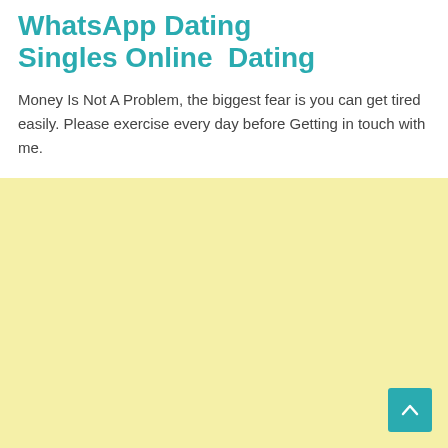WhatsApp Dating Singles Online Dating
Money Is Not A Problem, the biggest fear is you can get tired easily. Please exercise every day before Getting in touch with me.